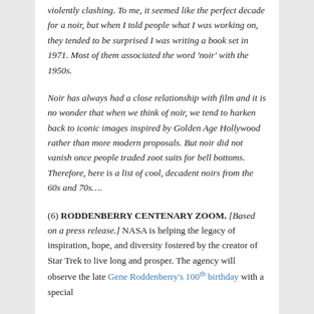violently clashing. To me, it seemed like the perfect decade for a noir, but when I told people what I was working on, they tended to be surprised I was writing a book set in 1971. Most of them associated the word 'noir' with the 1950s.
Noir has always had a close relationship with film and it is no wonder that when we think of noir, we tend to harken back to iconic images inspired by Golden Age Hollywood rather than more modern proposals. But noir did not vanish once people traded zoot suits for bell bottoms. Therefore, here is a list of cool, decadent noirs from the 60s and 70s….
(6) RODDENBERRY CENTENARY ZOOM. [Based on a press release.] NASA is helping the legacy of inspiration, hope, and diversity fostered by the creator of Star Trek to live long and prosper. The agency will observe the late Gene Roddenberry's 100th birthday with a special